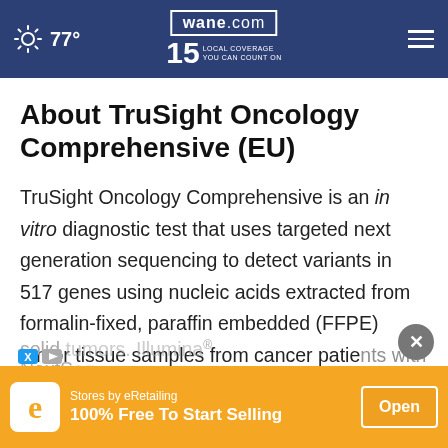wane.com 15 LOCAL COVERAGE YOU CAN COUNT ON | 77°
About TruSight Oncology Comprehensive (EU)
TruSight Oncology Comprehensive is an in vitro diagnostic test that uses targeted next generation sequencing to detect variants in 517 genes using nucleic acids extracted from formalin-fixed, paraffin embedded (FFPE) tumor tissue samples from cancer patients with solid tumors. Illumina® NextSeq…